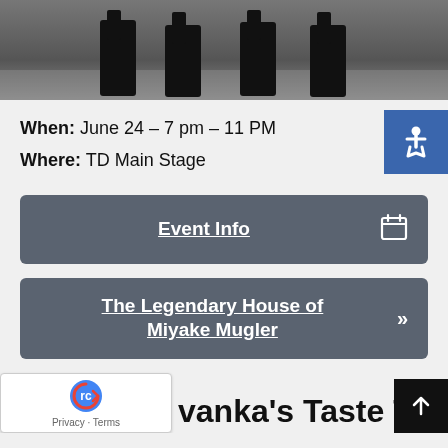[Figure (photo): Photo showing legs/boots of performers on a stage floor]
When: June 24 – 7 pm – 11 PM
Where: TD Main Stage
Event Info
The Legendary House of Miyake Mugler
vanka's Taste Test Show